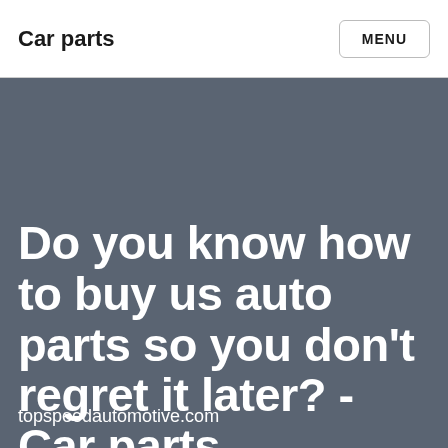Car parts
MENU
Do you know how to buy us auto parts so you don't regret it later? - Car parts
topspeedautomotive.com